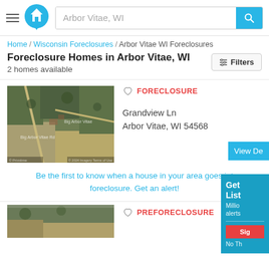Arbor Vitae, WI [search bar with logo]
Home / Wisconsin Foreclosures / Arbor Vitae WI Foreclosures
Foreclosure Homes in Arbor Vitae, WI
2 homes available
[Figure (screenshot): Aerial/satellite map image of Grandview Ln, Arbor Vitae WI showing rural land parcels with roads and green fields]
FORECLOSURE
Grandview Ln
Arbor Vitae, WI 54568
Be the first to know when a house in your area goes into foreclosure. Get an alert!
[Figure (screenshot): Partial aerial/satellite image of a second property listing (PREFORECLOSURE)]
PREFORECLOSURE